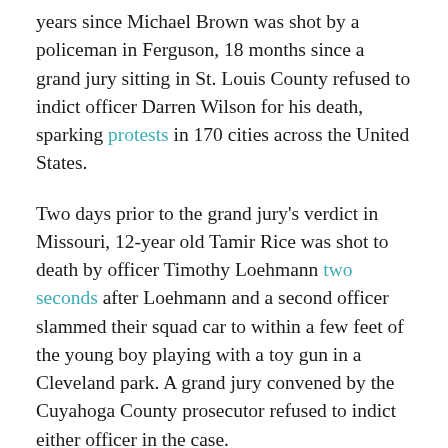years since Michael Brown was shot by a policeman in Ferguson, 18 months since a grand jury sitting in St. Louis County refused to indict officer Darren Wilson for his death, sparking protests in 170 cities across the United States.
Two days prior to the grand jury's verdict in Missouri, 12-year old Tamir Rice was shot to death by officer Timothy Loehmann two seconds after Loehmann and a second officer slammed their squad car to within a few feet of the young boy playing with a toy gun in a Cleveland park. A grand jury convened by the Cuyahoga County prosecutor refused to indict either officer in the case.
These two were a small part of the hundreds of cases of black men, and women, killed by police in the past